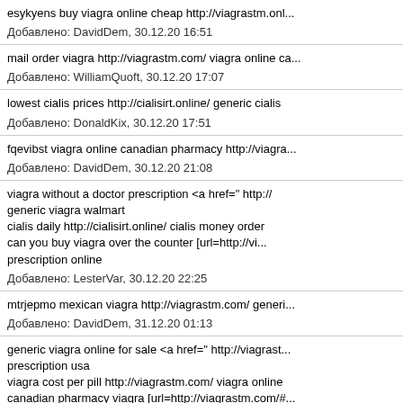esykyens buy viagra online cheap http://viagrastm.onl...
Добавлено: DavidDem, 30.12.20 16:51
mail order viagra http://viagrastm.com/ viagra online ca...
Добавлено: WilliamQuoft, 30.12.20 17:07
lowest cialis prices http://cialisirt.online/ generic cialis
Добавлено: DonaldKix, 30.12.20 17:51
fqevibst viagra online canadian pharmacy http://viagra...
Добавлено: DavidDem, 30.12.20 21:08
viagra without a doctor prescription <a href=" http://...
generic viagra walmart
cialis daily http://cialisirt.online/ cialis money order
can you buy viagra over the counter [url=http://vi...
prescription online
Добавлено: LesterVar, 30.12.20 22:25
mtrjepmo mexican viagra http://viagrastm.com/ generi...
Добавлено: DavidDem, 31.12.20 01:13
generic viagra online for sale <a href=" http://viagrast...
prescription usa
viagra cost per pill http://viagrastm.com/ viagra online
canadian pharmacy viagra [url=http://viagrastm.com/#...
Добавлено: LesterVar, 31.12.20 01:25
exwxryde generic cialis at walmart http://cialisirt.online...